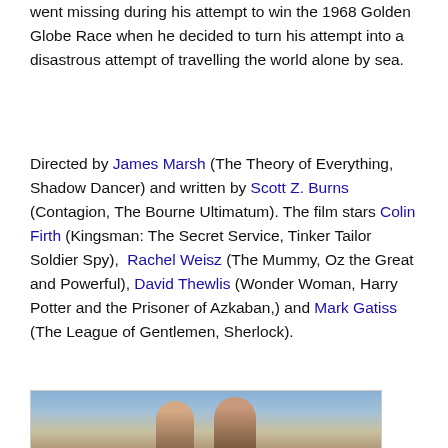went missing during his attempt to win the 1968 Golden Globe Race when he decided to turn his attempt into a disastrous attempt of travelling the world alone by sea.
Directed by James Marsh (The Theory of Everything, Shadow Dancer) and written by Scott Z. Burns (Contagion, The Bourne Ultimatum). The film stars Colin Firth (Kingsman: The Secret Service, Tinker Tailor Soldier Spy),  Rachel Weisz (The Mummy, Oz the Great and Powerful), David Thewlis (Wonder Woman, Harry Potter and the Prisoner of Azkaban,) and Mark Gatiss (The League of Gentlemen, Sherlock).
[Figure (photo): A photograph showing people outdoors, partially visible at the bottom of the page, with a blue sky background.]